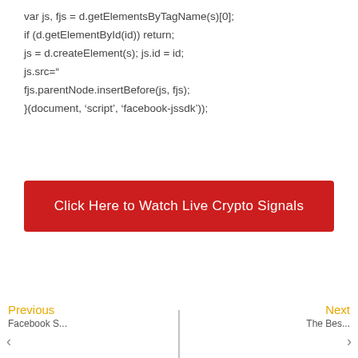var js, fjs = d.getElementsByTagName(s)[0];
if (d.getElementById(id)) return;
js = d.createElement(s); js.id = id;
js.src="
fjs.parentNode.insertBefore(js, fjs);
}(document, 'script', 'facebook-jssdk'));
Click Here to Watch Live Crypto Signals
Previous | Next